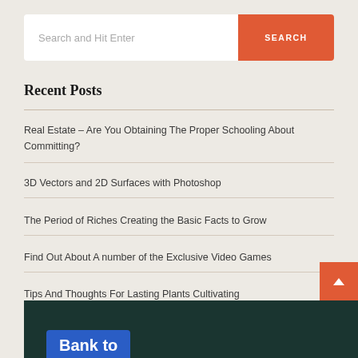Search and Hit Enter
Real Estate – Are You Obtaining The Proper Schooling About Committing?
3D Vectors and 2D Surfaces with Photoshop
The Period of Riches Creating the Basic Facts to Grow
Find Out About A number of the Exclusive Video Games
Tips And Thoughts For Lasting Plants Cultivating
Recent Posts
[Figure (photo): Bottom portion of an image showing a blue sign reading 'Bank to' on a dark green background]